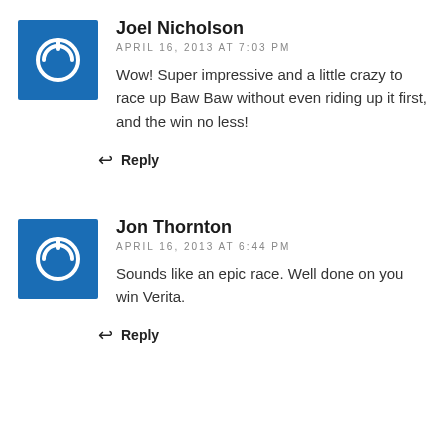Joel Nicholson
APRIL 16, 2013 AT 7:03 PM
Wow! Super impressive and a little crazy to race up Baw Baw without even riding up it first, and the win no less!
Reply
Jon Thornton
APRIL 16, 2013 AT 6:44 PM
Sounds like an epic race. Well done on you win Verita.
Reply